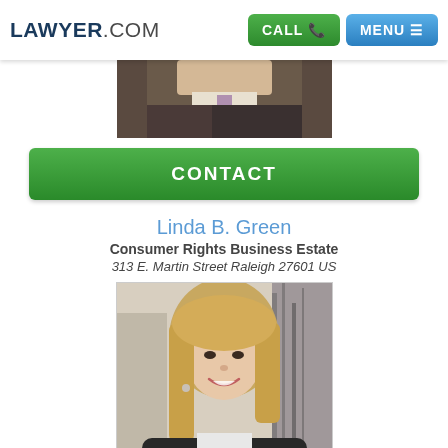LAWYER.COM — CALL | MENU
[Figure (photo): Top portion of a male lawyer in a suit and tie, cropped at the chest]
CONTACT
Linda B. Green
Consumer Rights Business Estate
313 E. Martin Street Raleigh 27601 US
[Figure (photo): Professional headshot of Linda B. Green, a blonde woman in a black blazer smiling at the camera]
CONTACT (bottom partial green button)